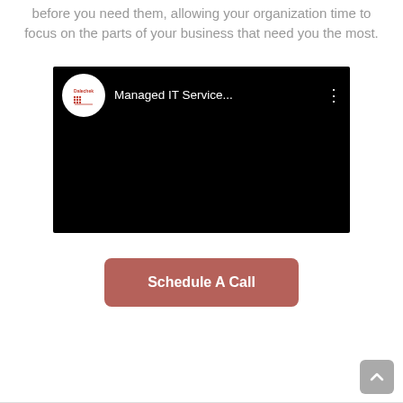before you need them, allowing your organization time to focus on the parts of your business that need you the most.
[Figure (screenshot): A YouTube-style video thumbnail with a black background showing a Dalechek logo (white circle with red logo and text) and the title 'Managed IT Service...' with a three-dot menu icon.]
Schedule A Call